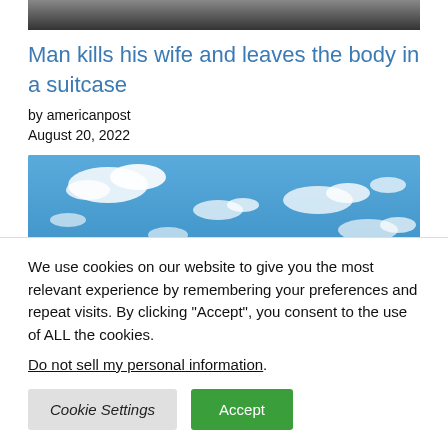[Figure (photo): Partial top of image, dark/obscured content cropped at top of page]
Man kills his wife and leaves the body in a suitcase
by americanpost
August 20, 2022
[Figure (photo): Blue sky with scattered white clouds]
We use cookies on our website to give you the most relevant experience by remembering your preferences and repeat visits. By clicking “Accept”, you consent to the use of ALL the cookies.
Do not sell my personal information.